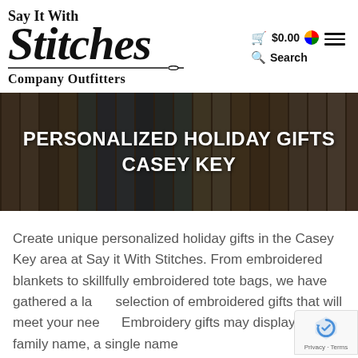[Figure (logo): Say It With Stitches Company Outfitters logo with script lettering and needle/thread line]
$0.00
[Figure (illustration): Thread spools/embroidery thread arranged in rows — hero banner background image]
PERSONALIZED HOLIDAY GIFTS CASEY KEY
Create unique personalized holiday gifts in the Casey Key area at Say it With Stitches. From embroidered blankets to skillfully embroidered tote bags, we have gathered a large selection of embroidered gifts that will meet your needs. Embroidery gifts may display a family name, a single name